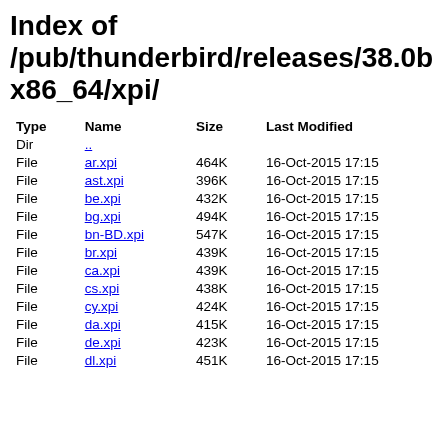Index of /pub/thunderbird/releases/38.0b x86_64/xpi/
| Type | Name | Size | Last Modified |
| --- | --- | --- | --- |
| Dir | .. |  |  |
| File | ar.xpi | 464K | 16-Oct-2015 17:15 |
| File | ast.xpi | 396K | 16-Oct-2015 17:15 |
| File | be.xpi | 432K | 16-Oct-2015 17:15 |
| File | bg.xpi | 494K | 16-Oct-2015 17:15 |
| File | bn-BD.xpi | 547K | 16-Oct-2015 17:15 |
| File | br.xpi | 439K | 16-Oct-2015 17:15 |
| File | ca.xpi | 439K | 16-Oct-2015 17:15 |
| File | cs.xpi | 438K | 16-Oct-2015 17:15 |
| File | cy.xpi | 424K | 16-Oct-2015 17:15 |
| File | da.xpi | 415K | 16-Oct-2015 17:15 |
| File | de.xpi | 423K | 16-Oct-2015 17:15 |
| File | dl.xpi | 451K | 16-Oct-2015 17:15 |